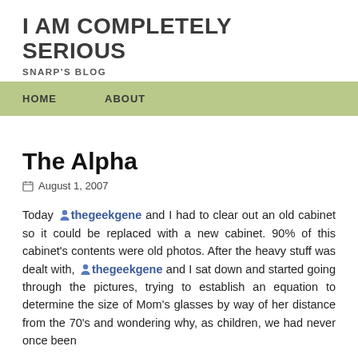I AM COMPLETELY SERIOUS
SNARP'S BLOG
HOME   ABOUT
The Alpha
August 1, 2007
Today thegeekgene and I had to clear out an old cabinet so it could be replaced with a new cabinet. 90% of this cabinet's contents were old photos. After the heavy stuff was dealt with, thegeekgene and I sat down and started going through the pictures, trying to establish an equation to determine the size of Mom's glasses by way of her distance from the 70's and wondering why, as children, we had never once been